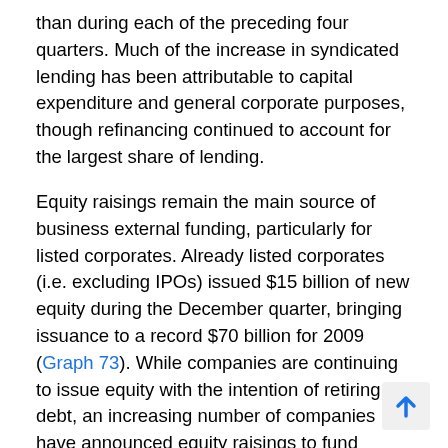than during each of the preceding four quarters. Much of the increase in syndicated lending has been attributable to capital expenditure and general corporate purposes, though refinancing continued to account for the largest share of lending.
Equity raisings remain the main source of business external funding, particularly for listed corporates. Already listed corporates (i.e. excluding IPOs) issued $15 billion of new equity during the December quarter, bringing issuance to a record $70 billion for 2009 (Graph 73). While companies are continuing to issue equity with the intention of retiring debt, an increasing number of companies have announced equity raisings to fund investment, including acquisitions. With the aggregate debt-to-equity ratio having declined by around 20 percentage points to around its long-run average of 65 per cent, it appears that many large